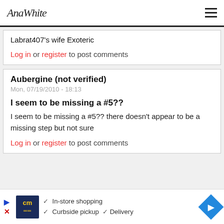AnaWhite
Labrat407's wife Exoteric
Log in or register to post comments
Aubergine (not verified)
Mon, 07/19/2010 - 18:13
I seem to be missing a #5??
I seem to be missing a #5?? there doesn't appear to be a missing step but not sure
Log in or register to post comments
[Figure (other): Advertisement banner: CM logo, In-store shopping, Curbside pickup, Delivery options, navigation arrow]